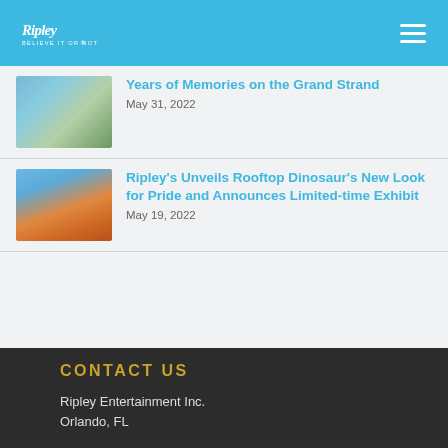Ripley's Believe It or Not! – Navigation header with logo and hamburger menu
Years of Memories on the Grand Strand
May 31, 2022
Ripley's Unveils Rooftop Dinosaur's New Look for Pride and Announces Limited-time Exhibit
May 19, 2022
CONTACT US
Ripley Entertainment Inc.
Orlando, FL